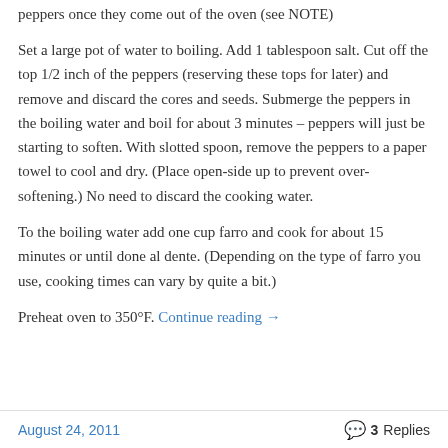peppers once they come out of the oven (see NOTE)
Set a large pot of water to boiling. Add 1 tablespoon salt. Cut off the top 1/2 inch of the peppers (reserving these tops for later) and remove and discard the cores and seeds. Submerge the peppers in the boiling water and boil for about 3 minutes – peppers will just be starting to soften. With slotted spoon, remove the peppers to a paper towel to cool and dry. (Place open-side up to prevent over-softening.) No need to discard the cooking water.
To the boiling water add one cup farro and cook for about 15 minutes or until done al dente. (Depending on the type of farro you use, cooking times can vary by quite a bit.)
Preheat oven to 350°F. Continue reading →
August 24, 2011    3 Replies